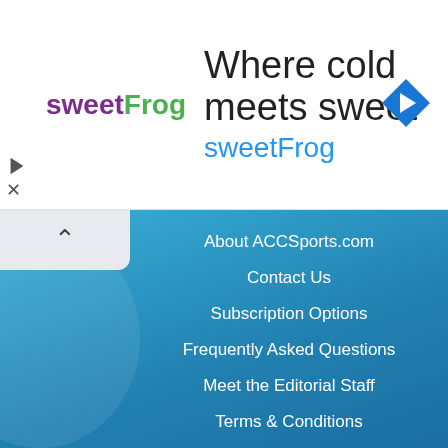[Figure (infographic): sweetFrog advertisement banner: logo with frog icon, headline 'Where cold meets sweet', brand name 'sweetFrog' in blue, navigation arrow icon in blue diamond on right]
About ACCSports.com
Contact Us
Subscription Options
Frequently Asked Questions
Meet the Editorial Staff
Terms & Conditions
ATLANTIC DIVISION
Boston College Eagles
Clemson Tigers